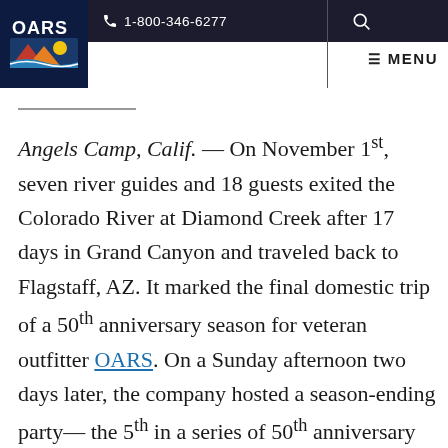1-800-346-6277  ☰ MENU
Angels Camp, Calif. — On November 1st, seven river guides and 18 guests exited the Colorado River at Diamond Creek after 17 days in Grand Canyon and traveled back to Flagstaff, AZ. It marked the final domestic trip of a 50th anniversary season for veteran outfitter OARS. On a Sunday afternoon two days later, the company hosted a season-ending party—the 5th in a series of 50th anniversary events